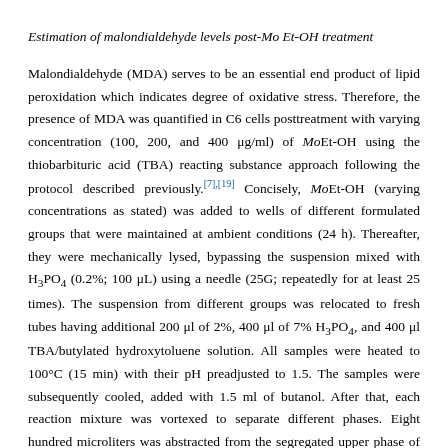Estimation of malondialdehyde levels post-Mo Et-OH treatment
Malondialdehyde (MDA) serves to be an essential end product of lipid peroxidation which indicates degree of oxidative stress. Therefore, the presence of MDA was quantified in C6 cells posttreatment with varying concentration (100, 200, and 400 μg/ml) of MoEt-OH using the thiobarbituric acid (TBA) reacting substance approach following the protocol described previously.[7],[19] Concisely, MoEt-OH (varying concentrations as stated) was added to wells of different formulated groups that were maintained at ambient conditions (24 h). Thereafter, they were mechanically lysed, bypassing the suspension mixed with H3PO4 (0.2%; 100 μL) using a needle (25G; repeatedly for at least 25 times). The suspension from different groups was relocated to fresh tubes having additional 200 μl of 2%, 400 μl of 7% H3PO4, and 400 μl TBA/butylated hydroxytoluene solution. All samples were heated to 100°C (15 min) with their pH preadjusted to 1.5. The samples were subsequently cooled, added with 1.5 ml of butanol. After that, each reaction mixture was vortexed to separate different phases. Eight hundred microliters was abstracted from the segregated upper phase of butanol and centrifuged (16,000 rpm; 5 min) at 37°C. Finally, sample from different